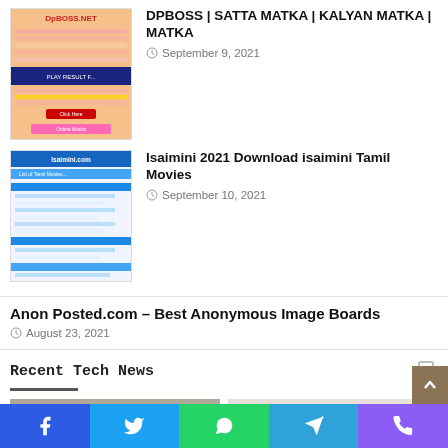[Figure (screenshot): Thumbnail screenshot of DPBOSS.NET website with pink/orange background and colored text bars]
DPBOSS | SATTA MATKA | KALYAN MATKA | MATKA
September 9, 2021
[Figure (screenshot): Thumbnail screenshot of Isaimini website with blue header and white content rows]
Isaimini 2021 Download isaimini Tamil Movies
September 10, 2021
Anon Posted.com – Best Anonymous Image Boards
August 23, 2021
Recent Tech News
[Figure (photo): Person working on laptop with pen and papers on desk]
[Figure (photo): Three business people in suits having a conversation]